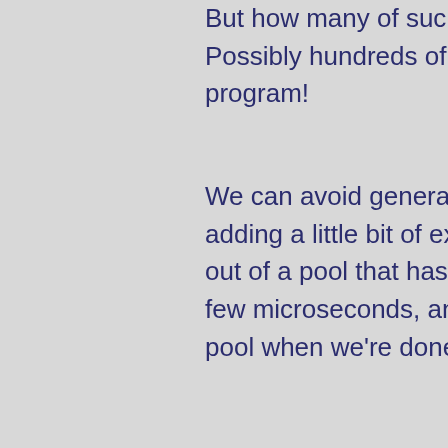But how many of such objects do we need overall? Possibly hundreds of thousands or millions in a large program!
We can avoid generating collection pressure by adding a little bit of extra code to pull those objects out of a pool that has a few dozen, use them for a few microseconds, and then put them back in the pool when we're done.
The situation in QuickLife is much the same. As shown in the graph, we get to a steady state where on average we are allocating roughly one new Quad4 and deallocating one dead Quad4 per cycle, and therefore steadily increasing collection pressure. We could instead just mutate the least recently killed dead Quad4.
I probably won't have time to try out that optimization if I can even do it...